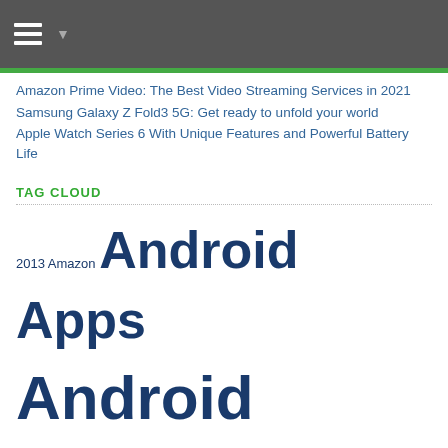Navigation bar with hamburger menu
Amazon Prime Video: The Best Video Streaming Services in 2021
Samsung Galaxy Z Fold3 5G: Get ready to unfold your world
Apple Watch Series 6 With Unique Features and Powerful Battery Life
TAG CLOUD
2013 Amazon Android Apps Android Smartphones Android Wear Apple BlackBerry Smartphones Cloud Drive Digital Cameras Download eBook Readers External Hard Drives Facebook Gaming Console Google Google Chrome HTC